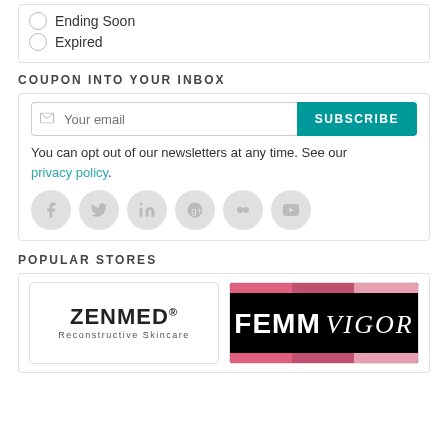Ending Soon
Expired
COUPON INTO YOUR INBOX
Your email [SUBSCRIBE button] You can opt out of our newsletters at any time. See our privacy policy.
POPULAR STORES
[Figure (logo): ZENMED Reconstructive Skincare logo]
[Figure (logo): FEMM VIGOR logo on black background with pink stripes]